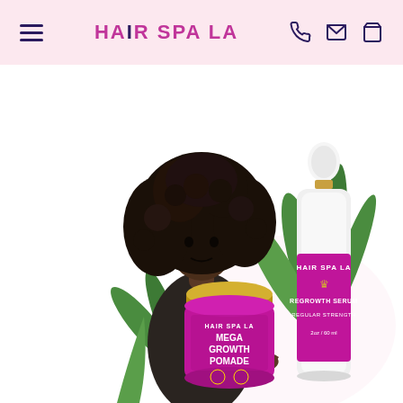HAIR SPA LA — navigation header with hamburger menu, logo, phone, email, and cart icons
[Figure (photo): Hero product photo showing a Black woman with voluminous curly hair pointing down at Hair Spa LA products: a magenta/pink jar of Mega Growth Pomade and a white dropper bottle of Regrowth Serum Regular Strength, with aloe vera plants in the background on a white background.]